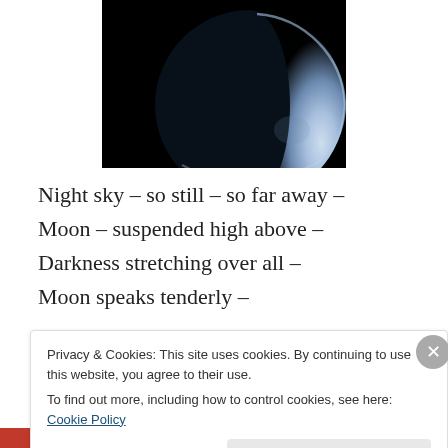[Figure (photo): Crescent moon or planet against a black sky background, showing a blue-white illuminated edge]
Night sky – so still – so far away –
Moon – suspended high above –
Darkness stretching over all –
Moon speaks tenderly –
Tenderly to me
Privacy & Cookies: This site uses cookies. By continuing to use this website, you agree to their use.
To find out more, including how to control cookies, see here: Cookie Policy